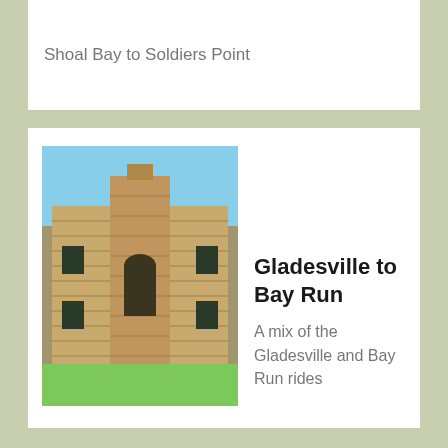Shoal Bay to Soldiers Point
[Figure (photo): Stone heritage building with sandstone brick facade and arched windows, grass in foreground, blue sky]
Gladesville to Bay Run
A mix of the Gladesville and Bay Run rides
[Figure (photo): River scene with palm trees and eucalyptus trees reflected in calm water, blue sky]